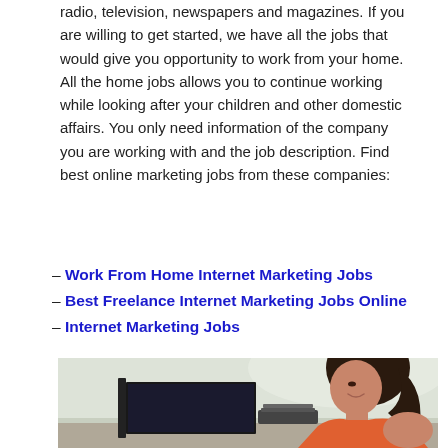radio, television, newspapers and magazines. If you are willing to get started, we have all the jobs that would give you opportunity to work from your home. All the home jobs allows you to continue working while looking after your children and other domestic affairs. You only need information of the company you are working with and the job description. Find best online marketing jobs from these companies:
– Work From Home Internet Marketing Jobs
– Best Freelance Internet Marketing Jobs Online
– Internet Marketing Jobs
[Figure (photo): A woman with dark hair smiling while working at a computer desk, wearing an orange top, photographed from the side in a bright home office setting.]